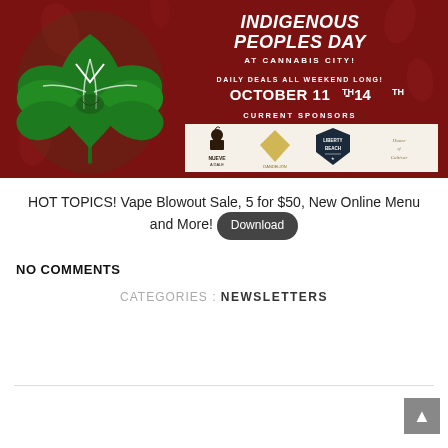[Figure (infographic): Indigenous Peoples Day at Cannabis City promotional banner on dark red background. Features a large green cannabis leaf with indigenous art motifs on the left. Right side shows event title 'INDIGENOUS PEOPLES DAY AT CANNABIS CITY!', 'DAILY DEALS ALL WEEKEND LONG! OCTOBER 11TH - 14TH', 'CURRENT SPONSORS' with four sponsor logos in a light box.]
HOT TOPICS! Vape Blowout Sale, 5 for $50, New Online Menu and More! Download
NO COMMENTS
CATEGORIES : NEWSLETTERS